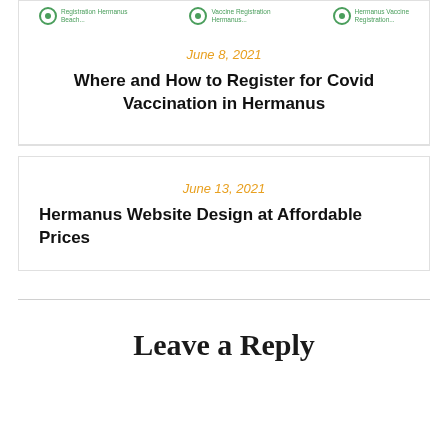[Figure (other): Three green circular icon badges with small text labels, displayed in a row at the top of a card]
June 8, 2021
Where and How to Register for Covid Vaccination in Hermanus
June 13, 2021
Hermanus Website Design at Affordable Prices
Leave a Reply